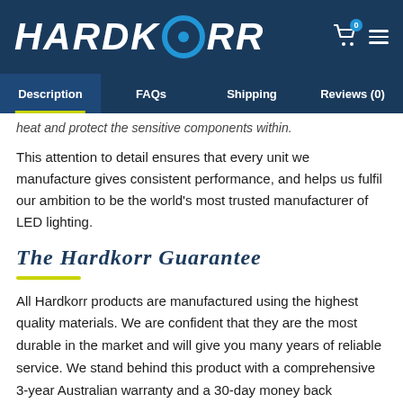HARDKORR
Description | FAQs | Shipping | Reviews (0)
heat and protect the sensitive components within.
This attention to detail ensures that every unit we manufacture gives consistent performance, and helps us fulfil our ambition to be the world's most trusted manufacturer of LED lighting.
The Hardkorr Guarantee
All Hardkorr products are manufactured using the highest quality materials. We are confident that they are the most durable in the market and will give you many years of reliable service. We stand behind this product with a comprehensive 3-year Australian warranty and a 30-day money back guarantee.